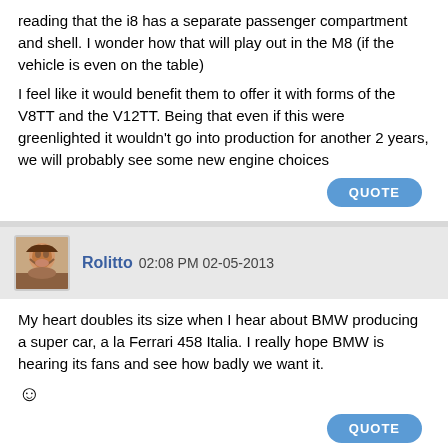reading that the i8 has a separate passenger compartment and shell. I wonder how that will play out in the M8 (if the vehicle is even on the table)
I feel like it would benefit them to offer it with forms of the V8TT and the V12TT. Being that even if this were greenlighted it wouldn't go into production for another 2 years, we will probably see some new engine choices
QUOTE
Rolitto 02:08 PM 02-05-2013
My heart doubles its size when I hear about BMW producing a super car, a la Ferrari 458 Italia. I really hope BMW is hearing its fans and see how badly we want it. 🙂
QUOTE